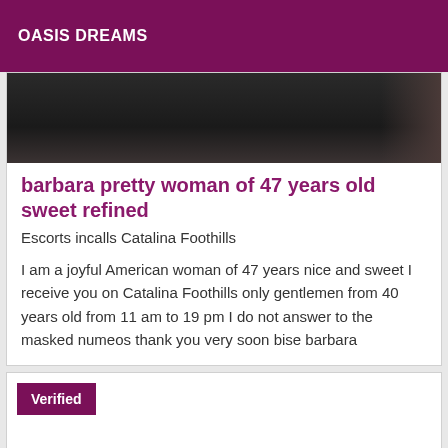OASIS DREAMS
[Figure (photo): Dark cropped photo strip showing part of a person, dark background]
barbara pretty woman of 47 years old sweet refined
Escorts incalls Catalina Foothills
I am a joyful American woman of 47 years nice and sweet I receive you on Catalina Foothills only gentlemen from 40 years old from 11 am to 19 pm I do not answer to the masked numeos thank you very soon bise barbara
Verified